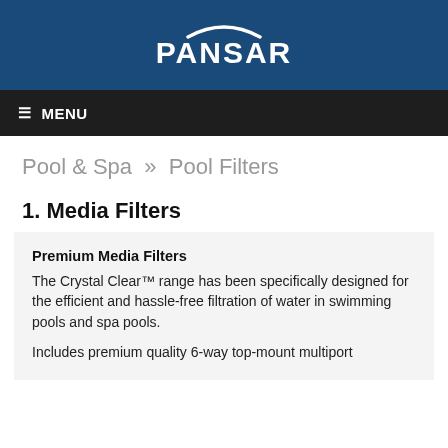PANSAR
≡ MENU
Pool & Spa » Pool Filters
1. Media Filters
Premium Media Filters
The Crystal Clear™ range has been specifically designed for the efficient and hassle-free filtration of water in swimming pools and spa pools.

Includes premium quality 6-way top-mount multiport